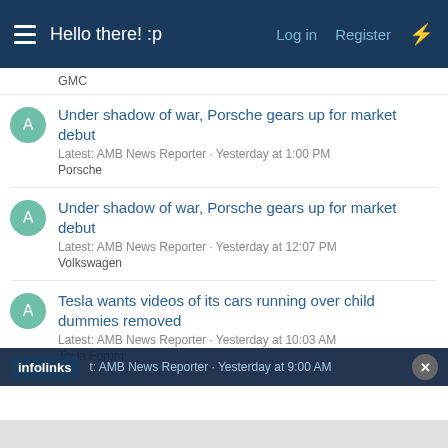Hello there! :p  Log in  Register
GMC
Under shadow of war, Porsche gears up for market debut
Latest: AMB News Reporter · Yesterday at 1:00 PM
Porsche
Under shadow of war, Porsche gears up for market debut
Latest: AMB News Reporter · Yesterday at 12:07 PM
Volkswagen
Tesla wants videos of its cars running over child dummies removed
Latest: AMB News Reporter · Yesterday at 10:03 AM
Tesla Forum
Junkyard Gem: 1997 Dodge Ram 2500, Vanlife Edition
Latest: AMB News Reporter · Yesterday at 9:00 AM